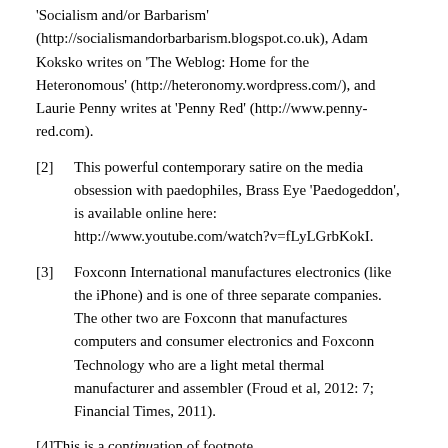'Socialism and/or Barbarism' (http://socialismandorbarbarism.blogspot.co.uk), Adam Koksko writes on 'The Weblog: Home for the Heteronomous' (http://heteronomy.wordpress.com/), and Laurie Penny writes at 'Penny Red' (http://www.penny-red.com).
[2]    This powerful contemporary satire on the media obsession with paedophiles, Brass Eye 'Paedogeddon', is available online here: http://www.youtube.com/watch?v=fLyLGrbKokI.
[3]    Foxconn International manufactures electronics (like the iPhone) and is one of three separate companies. The other two are Foxconn that manufactures computers and consumer electronics and Foxconn Technology who are a light metal thermal manufacturer and assembler (Froud et al, 2012: 7; Financial Times, 2011).
[4]This is a continuation of footnote 4 cut at bottom...